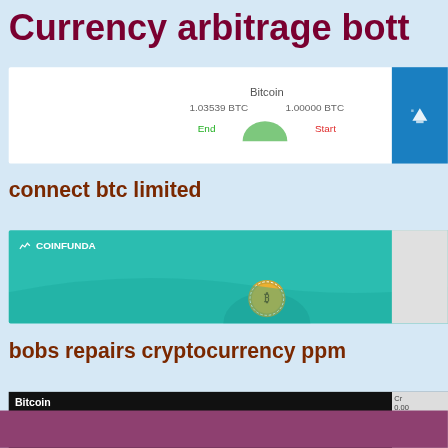Currency arbitrage bott
[Figure (screenshot): Bitcoin arbitrage bot screenshot showing 1.03539 BTC (End) and 1.00000 BTC (Start) with a green arc chart]
connect btc limited
btc f
[Figure (screenshot): CoinFunda website banner with teal background and bitcoin coin graphic]
bobs repairs cryptocurrency ppm
ethe
[Figure (table-as-image): Bitcoin price table showing BTC/USD - Bitfinex: Price 5,350.80, 1H% -0.50, Chng% -3.59, Low-High 5.08k-5.50k, Volume 33.8k]
00002624 btc to usd
bimo